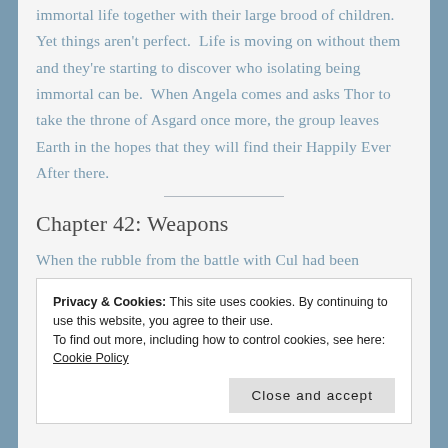immortal life together with their large brood of children. Yet things aren't perfect. Life is moving on without them and they're starting to discover who isolating being immortal can be. When Angela comes and asks Thor to take the throne of Asgard once more, the group leaves Earth in the hopes that they will find their Happily Ever After there.
Chapter 42: Weapons
When the rubble from the battle with Cul had been
Privacy & Cookies: This site uses cookies. By continuing to use this website, you agree to their use.
To find out more, including how to control cookies, see here: Cookie Policy